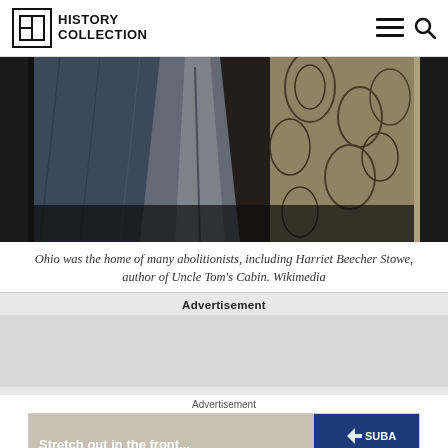History Collection
[Figure (photo): A dark, aged daguerreotype or tintype photograph showing a figure in a dress against a decorative floral wallpaper background]
Ohio was the home of many abolitionists, including Harriet Beecher Stowe, author of Uncle Tom's Cabin. Wikimedia
Advertisement
[Figure (photo): Subaru advertisement showing car interior with text 'Stretch out in the front...' and Subaru logo with Explore button]